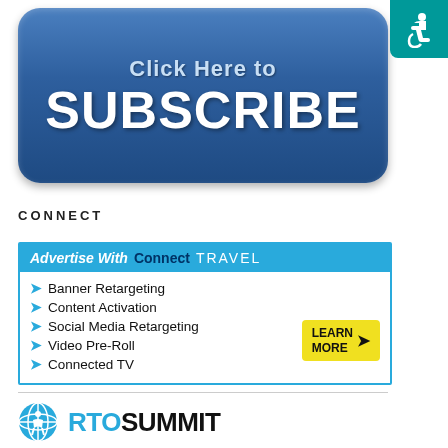[Figure (illustration): Blue rounded button with text 'Click Here to SUBSCRIBE']
[Figure (logo): Accessibility icon (wheelchair symbol) in teal square in top-right corner]
CONNECT
[Figure (infographic): Advertisement box for ConnectTRAVEL with list: Banner Retargeting, Content Activation, Social Media Retargeting, Video Pre-Roll, Connected TV. Yellow 'LEARN MORE' button.]
[Figure (logo): RTO Summit logo with blue globe icon and bold text 'RTOSUMMIT']